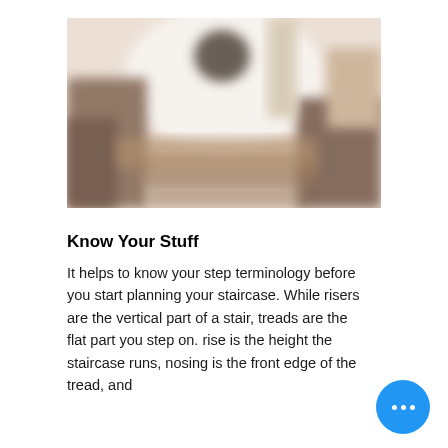[Figure (photo): Blurred interior photo of a staircase, showing wooden steps and a banister in warm brown tones with a light background]
Know Your Stuff
It helps to know your step terminology before you start planning your staircase. While risers are the vertical part of a stair, treads are the flat part you step on. rise is the height the staircase runs, nosing is the front edge of the tread, and